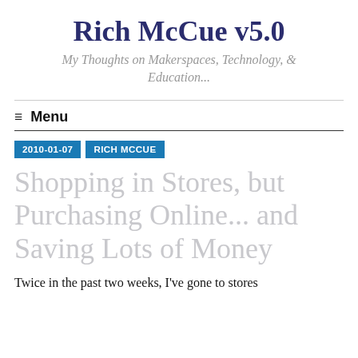Rich McCue v5.0
My Thoughts on Makerspaces, Technology, & Education...
≡  Menu
2010-01-07   RICH MCCUE
Shopping in Stores, but Purchasing Online... and Saving Lots of Money
Twice in the past two weeks, I've gone to stores